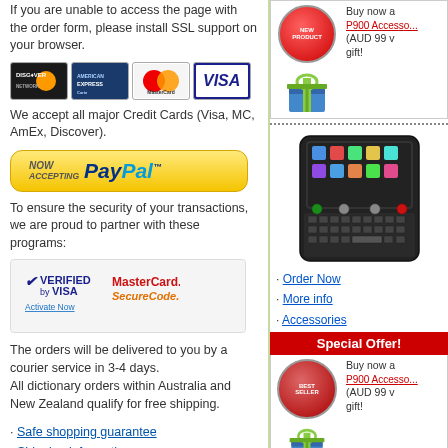If you are unable to access the page with the order form, please install SSL support on your browser.
[Figure (illustration): Credit card logos: Discover, AmEx, MasterCard, Visa]
We accept all major Credit Cards (Visa, MC, AmEx, Discover).
[Figure (logo): Now Accepting PayPal badge with yellow/gold rounded rectangle background]
To ensure the security of your transactions, we are proud to partner with these programs:
[Figure (illustration): Verified by Visa and MasterCard SecureCode badges with Activate Now link]
The orders will be delivered to you by a courier service in 3-4 days.
All dictionary orders within Australia and New Zealand qualify for free shipping.
• Safe shopping guarantee
• Shipping information
• Payment options
• Security policy
• Warranty
• Return policy
[Figure (illustration): New Product badge (red circle) and gift box image with buy now text and P900 Accessories link]
[Figure (photo): Electronic dictionary/translator device with touchscreen and keyboard]
• Order Now
• More info
• Accessories
Special Offer!
[Figure (illustration): Best Seller badge (red circle) and gift box with buy now text and P900 Accessories link]